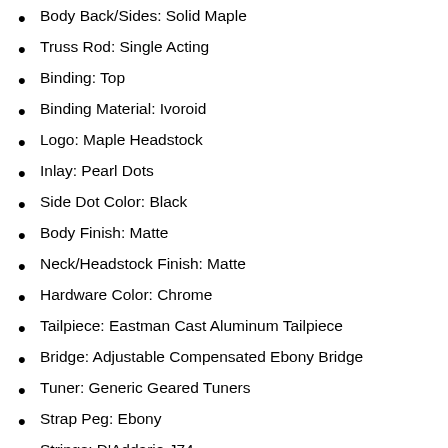Body Back/Sides: Solid Maple
Truss Rod: Single Acting
Binding: Top
Binding Material: Ivoroid
Logo: Maple Headstock
Inlay: Pearl Dots
Side Dot Color: Black
Body Finish: Matte
Neck/Headstock Finish: Matte
Hardware Color: Chrome
Tailpiece: Eastman Cast Aluminum Tailpiece
Bridge: Adjustable Compensated Ebony Bridge
Tuner: Generic Geared Tuners
Strap Peg: Ebony
Strings: D'Addario J74
Case: Eastman Gig Bag “Ask about a upgrade to CD-1520 Superior Case ☺ “
Warranty: Lifetime